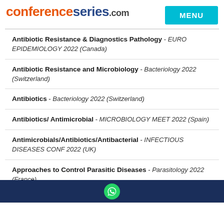conferenceseries.com
Antibiotic Resistance & Diagnostics Pathology - EURO EPIDEMIOLOGY 2022 (Canada)
Antibiotic Resistance and Microbiology - Bacteriology 2022 (Switzerland)
Antibiotics - Bacteriology 2022 (Switzerland)
Antibiotics/ Antimicrobial - MICROBIOLOGY MEET 2022 (Spain)
Antimicrobials/Antibiotics/Antibacterial - INFECTIOUS DISEASES CONF 2022 (UK)
Approaches to Control Parasitic Diseases - Parasitology 2022 (France)